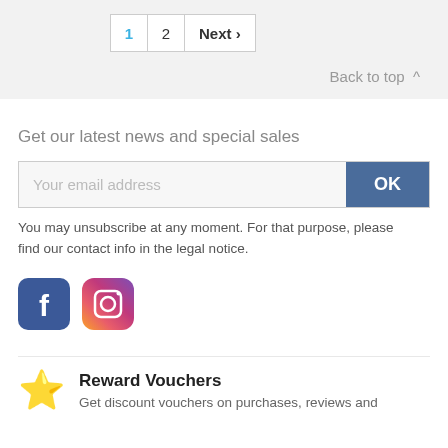1  2  Next >
Back to top ^
Get our latest news and special sales
Your email address
OK
You may unsubscribe at any moment. For that purpose, please find our contact info in the legal notice.
[Figure (logo): Facebook logo icon (blue square with white f)]
[Figure (logo): Instagram logo icon (gradient square with camera outline)]
Reward Vouchers
Get discount vouchers on purchases, reviews and